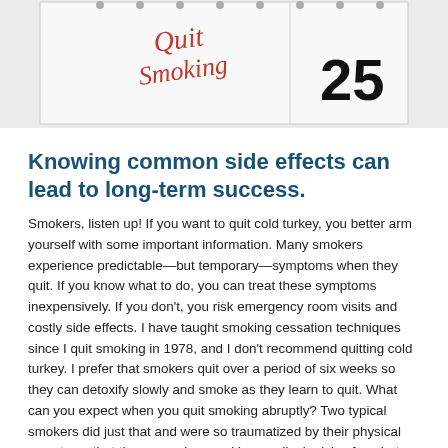[Figure (photo): A calendar page showing the handwritten text 'Quit Smoking' in red cursive, with the number 25 printed in large black font on the right side. The background is light/white.]
Knowing common side effects can lead to long-term success.
Smokers, listen up! If you want to quit cold turkey, you better arm yourself with some important information. Many smokers experience predictable—but temporary—symptoms when they quit. If you know what to do, you can treat these symptoms inexpensively. If you don't, you risk emergency room visits and costly side effects. I have taught smoking cessation techniques since I quit smoking in 1978, and I don't recommend quitting cold turkey. I prefer that smokers quit over a period of six weeks so they can detoxify slowly and smoke as they learn to quit. What can you expect when you quit smoking abruptly? Two typical smokers did just that and were so traumatized by their physical symptoms that they wound up seeking medical advice for what are, in fact, fairly common just-quit-smoking